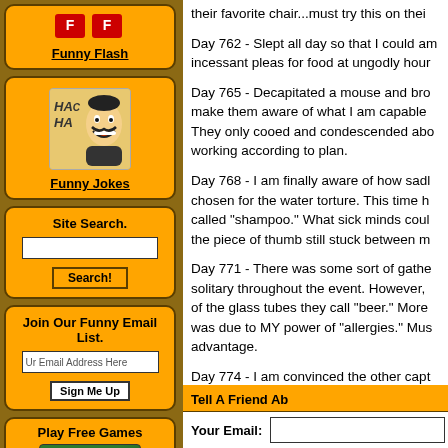[Figure (illustration): Red logo/banner at top of left sidebar]
Funny Flash
[Figure (illustration): Cartoon character laughing with Ha Ha text]
Funny Jokes
Site Search.
Search! button and text input
Join Our Funny Email List.
Ur Email Address Here input and Sign Me Up button
Play Free Games
[Figure (illustration): Hulk character image for Play Free Games section]
their favorite chair...must try this on thei
Day 762 - Slept all day so that I could am incessant pleas for food at ungodly hour
Day 765 - Decapitated a mouse and bro make them aware of what I am capable They only cooed and condescended abo working according to plan.
Day 768 - I am finally aware of how sadl chosen for the water torture. This time h called "shampoo." What sick minds coul the piece of thumb still stuck between m
Day 771 - There was some sort of gathe solitary throughout the event. However, of the glass tubes they call "beer." More was due to MY power of "allergies." Mus advantage.
Day 774 - I am convinced the other capt is routinely released and seems more th The Bird on the other hand has got to be tongue (something akin to mole speak) a reports my every move. Due to his curre assured. But I can wait. It is only a matte
Tell A Friend Ab
Your Email: